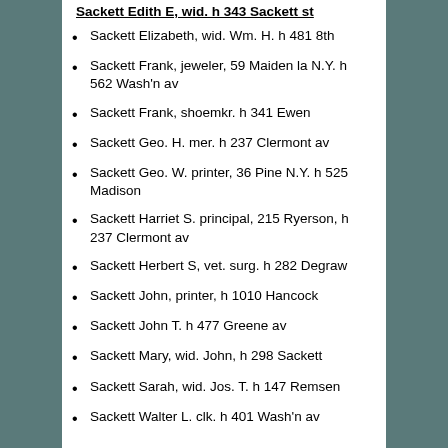Sackett Elizabeth, wid. Wm. H. h 481 8th
Sackett Frank, jeweler, 59 Maiden la N.Y. h 562 Wash'n av
Sackett Frank, shoemkr. h 341 Ewen
Sackett Geo. H. mer. h 237 Clermont av
Sackett Geo. W. printer, 36 Pine N.Y. h 525 Madison
Sackett Harriet S. principal, 215 Ryerson, h 237 Clermont av
Sackett Herbert S, vet. surg. h 282 Degraw
Sackett John, printer, h 1010 Hancock
Sackett John T. h 477 Greene av
Sackett Mary, wid. John, h 298 Sackett
Sackett Sarah, wid. Jos. T. h 147 Remsen
Sackett Walter L. clk. h 401 Wash'n av